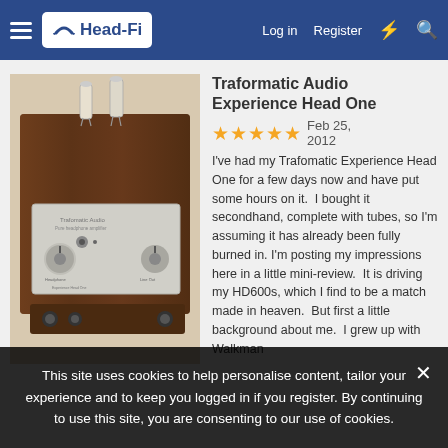Head-Fi | Log in | Register
[Figure (photo): Photo of Traformatic Audio Experience Head One tube headphone amplifier, showing wooden chassis with silver faceplate, volume knobs, and vacuum tubes on top]
Traformatic Audio Experience Head One
★★★★★ Feb 25, 2012
I've had my Trafomatic Experience Head One for a few days now and have put some hours on it.  I bought it secondhand, complete with tubes, so I'm assuming it has already been fully burned in.  I'm posting my impressions here in a little mini-review.  It is driving my HD600s, which I find to be a match made in heaven.  But first a little background about me.  I grew up with Walkman
This site uses cookies to help personalise content, tailor your experience and to keep you logged in if you register. By continuing to use this site, you are consenting to our use of cookies.